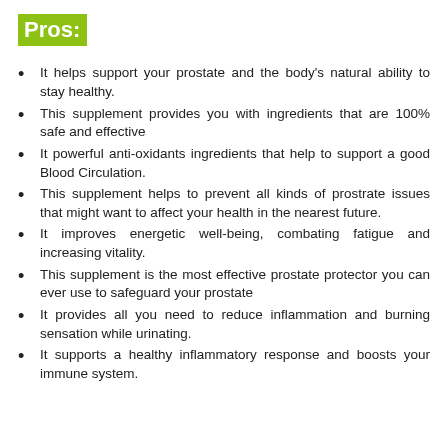Pros:
It helps support your prostate and the body’s natural ability to stay healthy.
This supplement provides you with ingredients that are 100% safe and effective
It powerful anti-oxidants ingredients that help to support a good Blood Circulation.
This supplement helps to prevent all kinds of prostrate issues that might want to affect your health in the nearest future.
It improves energetic well-being, combating fatigue and increasing vitality.
This supplement is the most effective prostate protector you can ever use to safeguard your prostate
It provides all you need to reduce inflammation and burning sensation while urinating.
It supports a healthy inflammatory response and boosts your immune system.